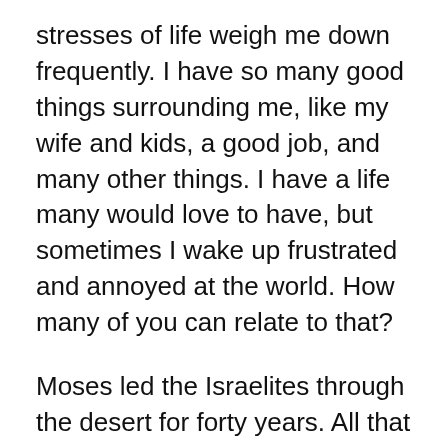stresses of life weigh me down frequently. I have so many good things surrounding me, like my wife and kids, a good job, and many other things. I have a life many would love to have, but sometimes I wake up frustrated and annoyed at the world. How many of you can relate to that?
Moses led the Israelites through the desert for forty years. All that time, they saw God’s majesty constantly. They literally saw God’s blessings rain down on themselves. Still, they complained almost nonstop. They get bread, but complained because it wasn’t meat. They knew God saved them from slavery and